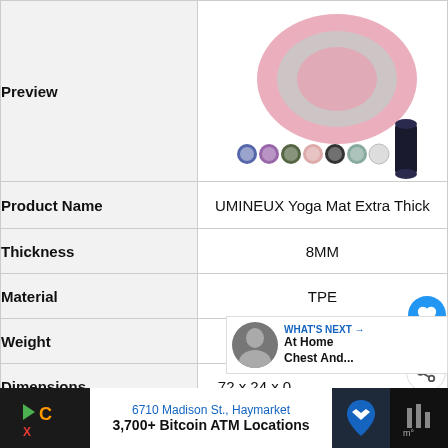| Field | Value |
| --- | --- |
| Preview | (product image of pink/grey yoga mat with color swatches) |
| Product Name | UMINEUX Yoga Mat Extra Thick |
| Thickness | 8MM |
| Material | TPE |
| Weight | 2.4 Pounds |
| Dimensions | 72 x 24 x 0… |
| Eco Friendly | ✗ |
[Figure (screenshot): UI overlay: heart/like button (blue circle), count badge showing 1, share button]
[Figure (screenshot): WHAT'S NEXT overlay: At Home Chest And... with thumbnail]
[Figure (screenshot): Ad banner: 6710 Madison St., Haymarket / 3,700+ Bitcoin ATM Locations]